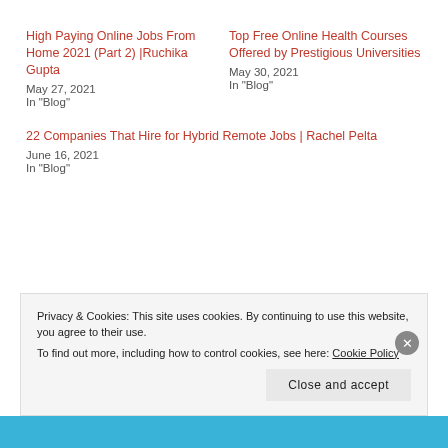High Paying Online Jobs From Home 2021 (Part 2) |Ruchika Gupta
May 27, 2021
In "Blog"
Top Free Online Health Courses Offered by Prestigious Universities
May 30, 2021
In "Blog"
22 Companies That Hire for Hybrid Remote Jobs | Rachel Pelta
June 16, 2021
In "Blog"
Privacy & Cookies: This site uses cookies. By continuing to use this website, you agree to their use.
To find out more, including how to control cookies, see here: Cookie Policy
Close and accept